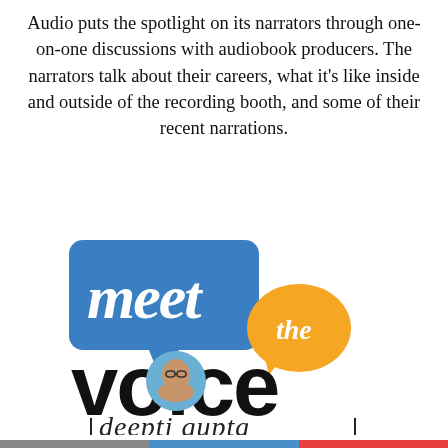Audio puts the spotlight on its narrators through one-on-one discussions with audiobook producers. The narrators talk about their careers, what it's like inside and outside of the recording booth, and some of their recent narrations.
[Figure (logo): Meet the Voice logo featuring a blue speech bubble with 'meet' in white script, an orange speech bubble with 'the' in white script, large bold text 'voice' with a portrait photo of a person inset in the letter 'o', and handwritten-style text 'deepti gupta' below with vertical bars framing it.]